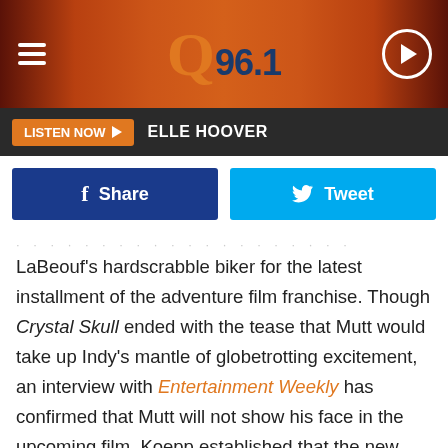Q96.1
LISTEN NOW  ELLE HOOVER
[Figure (screenshot): Facebook Share button (blue) and Twitter Tweet button (cyan)]
LaBeouf’s hardscrabble biker for the latest installment of the adventure film franchise. Though Crystal Skull ended with the tease that Mutt would take up Indy’s mantle of globetrotting excitement, an interview with Entertainment Weekly has confirmed that Mutt will not show his face in the upcoming film. Koepp established that the new movie will not depart from the tried-and-true formula of “Indy pursues magical artifact in race against his foes” in any radical fashion, either.